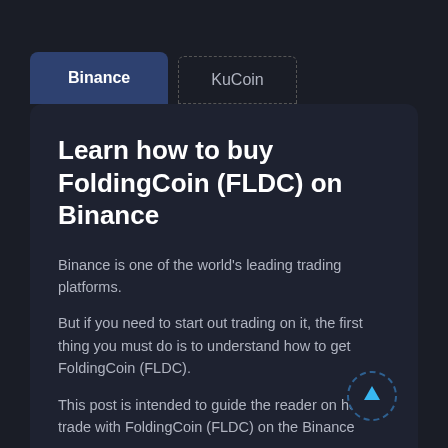Binance
KuCoin
Learn how to buy FoldingCoin (FLDC) on Binance
Binance is one of the world's leading trading platforms.
But if you need to start out trading on it, the first thing you must do is to understand how to get FoldingCoin (FLDC).
This post is intended to guide the reader on how to trade with FoldingCoin (FLDC) on the Binance